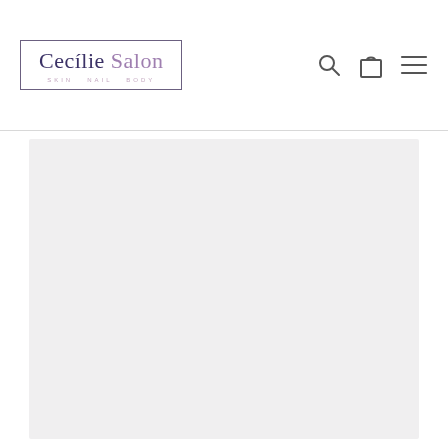[Figure (logo): Cecilie Salon logo with border, tagline SKIN NAIL BODY]
[Figure (illustration): Navigation icons: search magnifying glass, shopping bag, hamburger menu]